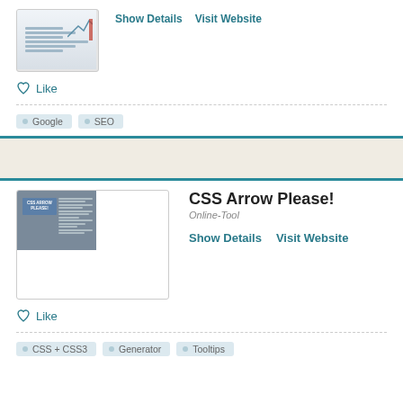[Figure (screenshot): Thumbnail screenshot of a website with chart/graph lines and sidebar text]
Show Details    Visit Website
♡ Like
Google
SEO
CSS Arrow Please!
Online-Tool
[Figure (screenshot): Thumbnail screenshot of CSS Arrow Please website with dark gray background and blue panel]
Show Details    Visit Website
♡ Like
CSS + CSS3
Generator
Tooltips